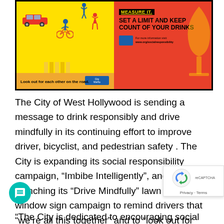[Figure (illustration): Two-panel banner. Left panel: yellow background with illustrated car, cyclist, and pedestrian on a crosswalk. Text: 'Look out for each other on the road.' with city logos. Right panel: red/coral background with text 'MEASURE IT. SET A LIMIT AND KEEP COUNT OF YOUR DRINKS' and a wine glass graphic, plus logo and URL.]
The City of West Hollywood is sending a message to drink responsibly and drive mindfully in its continuing effort to improve driver, bicyclist, and pedestrian safety . The City is expanding its social responsibility campaign, “Imbibe Intelligently”, and launching its “Drive Mindfully” lawn and window sign campaign to remind drivers that “we’re all this together” and to “look out for each other on the road.”
“The City is dedicated to encouraging social